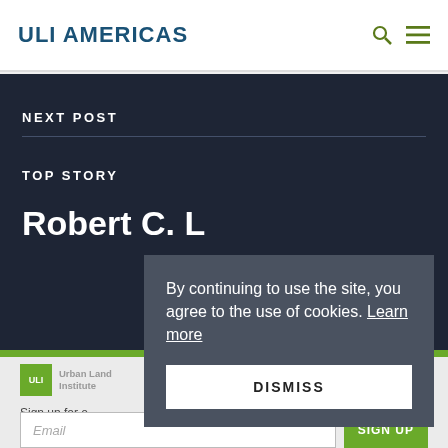ULI AMERICAS
NEXT POST
TOP STORY
Robert C. L
[Figure (logo): Urban Land Institute ULI logo]
Sign up for o  Land maga
By continuing to use the site, you agree to the use of cookies. Learn more
DISMISS
Email
SIGN UP